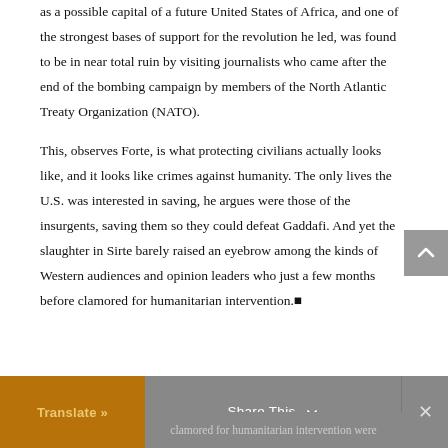as a possible capital of a future United States of Africa, and one of the strongest bases of support for the revolution he led, was found to be in near total ruin by visiting journalists who came after the end of the bombing campaign by members of the North Atlantic Treaty Organization (NATO).

This, observes Forte, is what protecting civilians actually looks like, and it looks like crimes against humanity. The only lives the U.S. was interested in saving, he argues were those of the insurgents, saving them so they could defeat Gaddafi. And yet the slaughter in Sirte barely raised an eyebrow among the kinds of Western audiences and opinion leaders who just a few months before clamored for humanitarian intervention.■
Translate » | Share This | ×